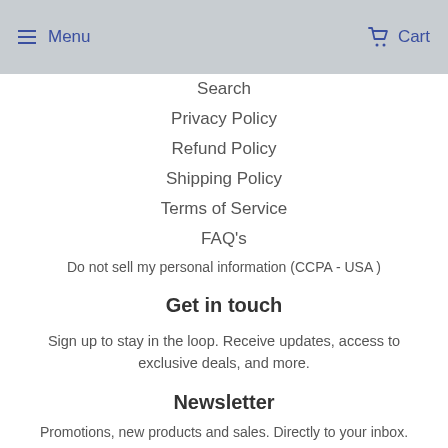Menu  Cart
Search
Privacy Policy
Refund Policy
Shipping Policy
Terms of Service
FAQ's
Do not sell my personal information (CCPA - USA )
Get in touch
Sign up to stay in the loop. Receive updates, access to exclusive deals, and more.
Newsletter
Promotions, new products and sales. Directly to your inbox.